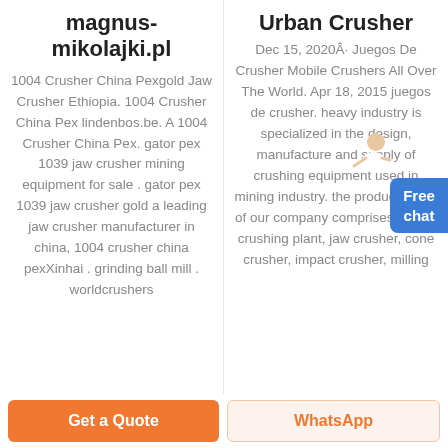magnus-mikolajki.pl
1004 Crusher China Pexgold Jaw Crusher Ethiopia. 1004 Crusher China Pex lindenbos.be. A 1004 Crusher China Pex. gator pex 1039 jaw crusher mining equipment for sale . gator pex 1039 jaw crusher gold a leading jaw crusher manufacturer in china, 1004 crusher china pexXinhai . grinding ball mill . worldcrushers
Urban Crusher
Dec 15, 2020Â· Juegos De Crusher Mobile Crushers All Over The World. Apr 18, 2015 juegos de crusher. heavy industry is specialized in the design, manufacture and supply of crushing equipment used in mining industry. the product range of our company comprises mobile crushing plant, jaw crusher, cone crusher, impact crusher, milling
Get a Quote
WhatsApp